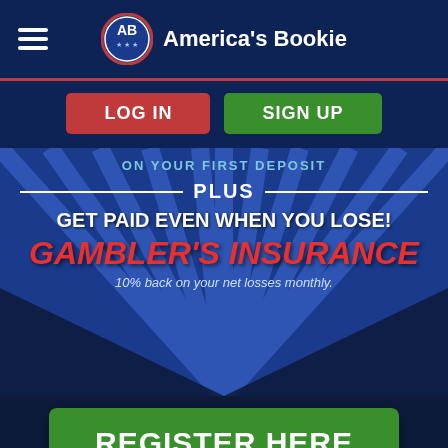America's Bookie
LOG IN   SIGN UP
[Figure (infographic): America's Bookie promotional banner advertising Gambler's Insurance. Shows radiating blue light rays on dark blue background with text: ON YOUR FIRST DEPOSIT / PLUS / GET PAID EVEN WHEN YOU LOSE! / GAMBLER'S INSURANCE / 10% back on your net losses monthly. A green REGISTER HERE button appears at the bottom.]
ON YOUR FIRST DEPOSIT
PLUS
GET PAID EVEN WHEN YOU LOSE!
GAMBLER'S INSURANCE
10% back on your net losses monthly.
REGISTER HERE